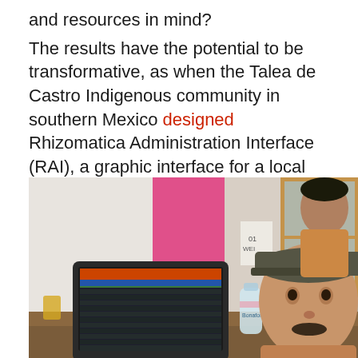and resources in mind?

The results have the potential to be transformative, as when the Talea de Castro Indigenous community in southern Mexico designed Rhizomatica Administration Interface (RAI), a graphic interface for a local cellphone network responsive to local information needs, languages and modes of communication.
[Figure (photo): A photo showing two people in a room with pink and white walls and a wooden window frame. One person sits in the foreground wearing a cap, and another stands behind. A laptop displaying a software interface and a water bottle are on the table.]